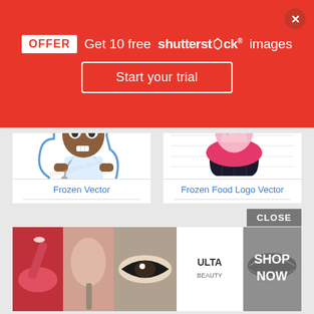OFFER  Get 10 free shutterstock images
Start your trial
[Figure (illustration): Cartoon illustration of a scared/nervous dark-skinned character in a white lab coat/doctor outfit, standing in a cut-out sticker shape with blue outline]
Frozen Vector
[Figure (logo): Frozen food logo with a pink cupcake with swirl frosting on top of a dark brown/black cupcake base, with the text 'TuoNome' in pink bubbly letters below]
Frozen Food Logo Vector
[Figure (photo): Ulta Beauty advertisement banner showing close-up makeup photos: red lips with brush, eye with eyeshadow brush, eye with lashes/liner, Ulta logo, smoky eyes, with SHOP NOW text]
CLOSE